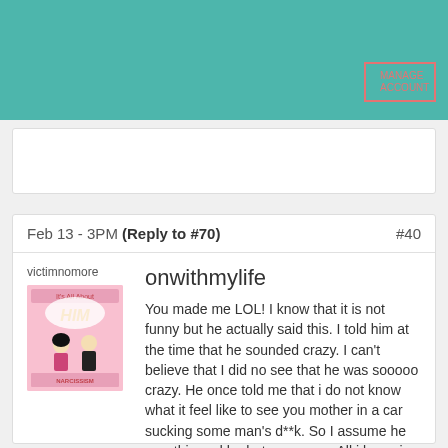[Figure (screenshot): Teal website header bar with a small outlined button in the top right]
[Figure (other): Search or input box area, white rectangle]
Feb 13 - 3PM (Reply to #70) #40
victimnomore
[Figure (illustration): Book cover illustration for 'It's All About HIM' with narcissism theme, showing cartoon couple]
onwithmylife
You made me LOL! I know that it is not funny but he actually said this. I told him at the time that he sounded crazy. I can't believe that I did no see that he was sooooo crazy. He once told me that i do not know what it feel like to see you mother in a car sucking some man's d**k. So I assume he saw this and he hates women. All i know is that he is absolutely insane. He said once we have threesomes and I have sex with another woman and we have sex together with the